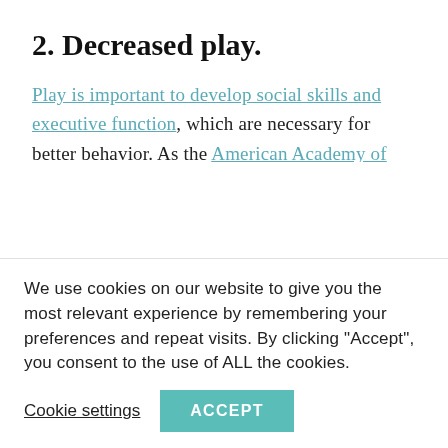2. Decreased play.
Play is important to develop social skills and executive function, which are necessary for better behavior. As the American Academy of Pediatrics says, “There are risks in the current focus only on achievement, homework, and test performance… There is little time left in the day for children’s free play, for parental reading to children, or for family mealtimes.”
We use cookies on our website to give you the most relevant experience by remembering your preferences and repeat visits. By clicking “Accept”, you consent to the use of ALL the cookies.
Cookie settings  ACCEPT